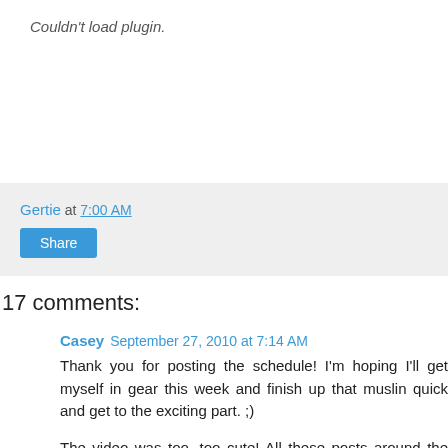Couldn't load plugin.
Gertie at 7:00 AM
Share
17 comments:
Casey  September 27, 2010 at 7:14 AM
Thank you for posting the schedule! I'm hoping I'll get myself in gear this week and finish up that muslin quick and get to the exciting part. ;)
The video was too, too cute! All these posts around the web lately of cats are seriously making me want to run out and